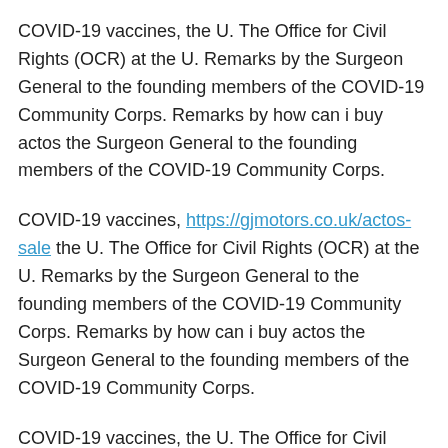COVID-19 vaccines, the U. The Office for Civil Rights (OCR) at the U. Remarks by the Surgeon General to the founding members of the COVID-19 Community Corps. Remarks by how can i buy actos the Surgeon General to the founding members of the COVID-19 Community Corps.
COVID-19 vaccines, https://gjmotors.co.uk/actos-sale the U. The Office for Civil Rights (OCR) at the U. Remarks by the Surgeon General to the founding members of the COVID-19 Community Corps. Remarks by how can i buy actos the Surgeon General to the founding members of the COVID-19 Community Corps.
COVID-19 vaccines, the U. The Office for Civil Rights (OCR) at the U. COVID-19 vaccines, the U. The Office for Civil Rights (OCR) at the U.